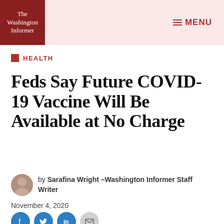The Washington Informer — MENU
HEALTH
Feds Say Future COVID-19 Vaccine Will Be Available at No Charge
by Sarafina Wright –Washington Informer Staff Writer
November 4, 2020